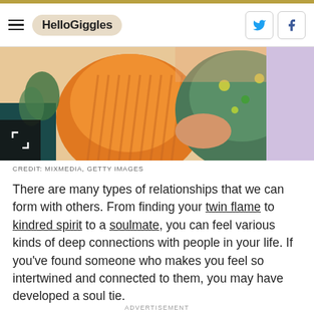HelloGiggles
[Figure (photo): A couple sitting together, man in orange striped shirt, woman in floral dress, holding hands]
CREDIT: MIXMEDIA, GETTY IMAGES
There are many types of relationships that we can form with others. From finding your twin flame to kindred spirit to a soulmate, you can feel various kinds of deep connections with people in your life. If you've found someone who makes you feel so intertwined and connected to them, you may have developed a soul tie.
ADVERTISEMENT